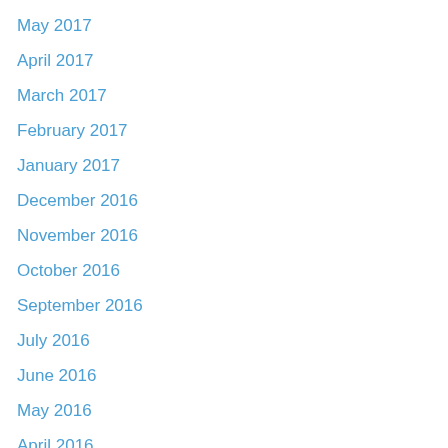May 2017
April 2017
March 2017
February 2017
January 2017
December 2016
November 2016
October 2016
September 2016
July 2016
June 2016
May 2016
April 2016
February 2016
January 2016
December 2015
November 2015
October 2015
September 2015
August 2015